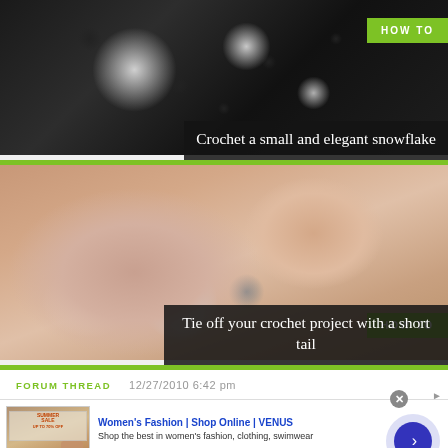[Figure (photo): Blurred photo of a crocheted snowflake on dark background with HOW TO badge and title overlay]
[Figure (photo): Blurred photo of hands holding a crocheted item with HOW TO badge and title overlay]
FORUM THREAD   12/27/2010 6:42 pm
[Figure (other): Advertisement: Women's Fashion | Shop Online | VENUS - Shop the best in women's fashion, clothing, swimwear. venus.com]